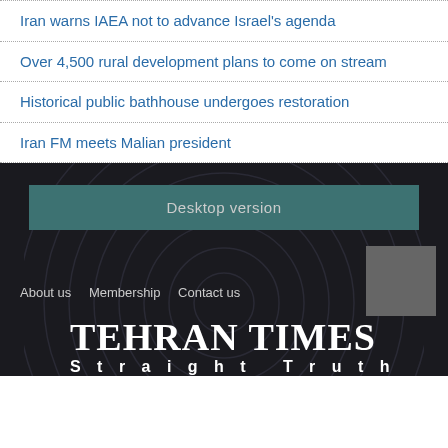Iran warns IAEA not to advance Israel's agenda
Over 4,500 rural development plans to come on stream
Historical public bathhouse undergoes restoration
Iran FM meets Malian president
Desktop version
About us   Membership   Contact us
TEHRAN TIMES Straight Truth